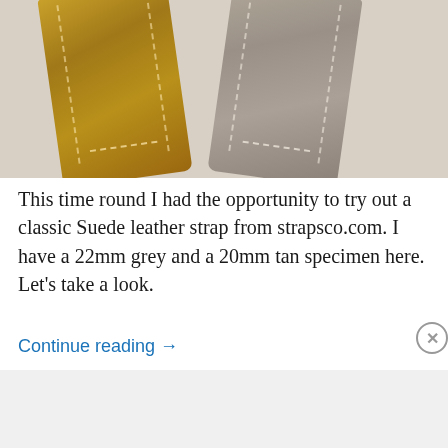[Figure (photo): Two suede leather watch straps side by side on a light grey background: a tan/mustard colored strap on the left and a grey strap on the right, both with white stitching detail along the edges.]
This time round I had the opportunity to try out a classic Suede leather strap from strapsco.com. I have a 22mm grey and a 20mm tan specimen here. Let's take a look.
Continue reading →
Advertisements
[Figure (screenshot): DuckDuckGo advertisement banner with orange background. Text reads: Search, browse, and email with more privacy. All in One Free App. Shows a smartphone with DuckDuckGo logo.]